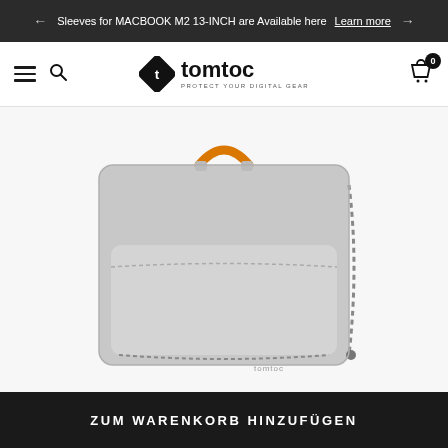Sleeves for MACBOOK M2 13-INCH are Available here Learn more
[Figure (logo): Tomtoc brand logo with diamond icon and tagline PROTECT YOUR DIGITAL GEAR]
[Figure (photo): Gray laptop sleeve bag with orange handle and zipper pulls, front pocket visible, tomtoc branding]
ZUM WARENKORB HINZUFÜGEN